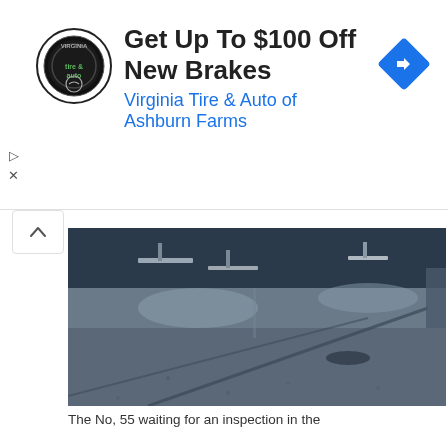[Figure (screenshot): Advertisement banner for Virginia Tire & Auto of Ashburn Farms showing a circular logo, bold headline 'Get Up To $100 Off New Brakes', subtitle in blue 'Virginia Tire & Auto of Ashburn Farms', and a blue diamond-shaped navigation arrow icon on the right. Ad controls (play and close buttons) visible on the left.]
[Figure (photo): Security camera or surveillance still image showing a wet, dark parking lot or outdoor ground surface viewed from an elevated angle. The scene appears to reflect lights from above; the image is grayscale/dark tones. Partial view of what appears to be a vehicle or object in the upper portion.]
The No, 55 waiting for an inspection in the